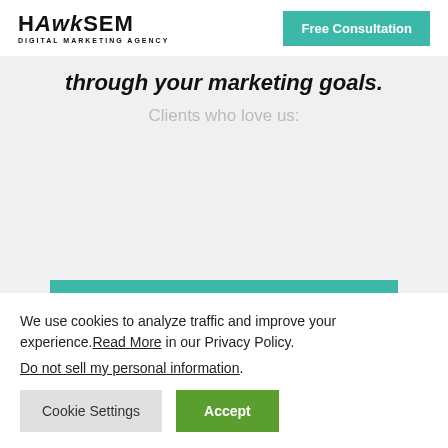[Figure (logo): HawkSEM Digital Marketing Agency logo]
Free Consultation
through your marketing goals.
Clients who love us:
Free Consultation
We use cookies to analyze traffic and improve your experience. Read More in our Privacy Policy.
Do not sell my personal information.
Cookie Settings
Accept